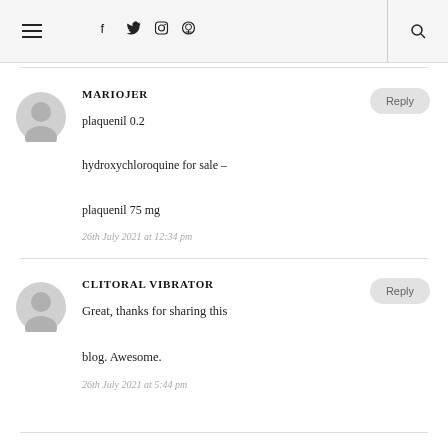Navigation bar with hamburger menu, social icons (f, twitter, instagram, pinterest), and search icon
MARIOJER
plaquenil 0.2
hydroxychloroquine for sale – plaquenil 75 mg
26th July 2021 at 12:34 pm
CLITORAL VIBRATOR
Great, thanks for sharing this blog. Awesome.
26th July 2021 at 5:44 pm